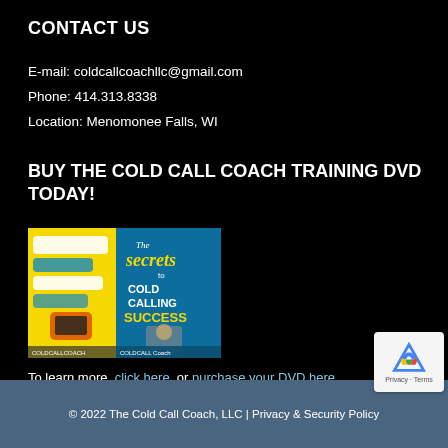CONTACT US
E-mail: coldcallcoachllc@gmail.com
Phone: 414.313.8338
Location: Menomonee Falls, WI
BUY THE COLD CALL COACH TRAINING DVD TODAY!
[Figure (photo): Book cover for 'The Secrets to Cold Calling Success' by Paul M. Neuberger, The Cold Call Coach]
To learn more, click here, or purchase your DVD here.
© 2022 The Cold Call Coach, LLC | Privacy & Security Policy